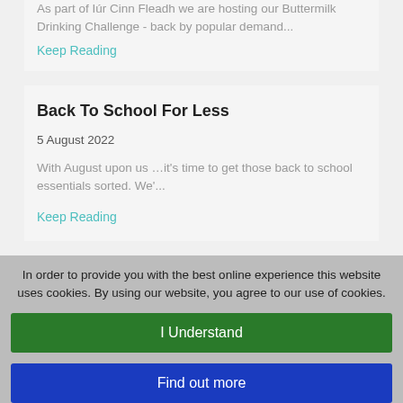As part of Iúr Cinn Fleadh we are hosting our Buttermilk Drinking Challenge - back by popular demand...
Keep Reading
Back To School For Less
5 August 2022
With August upon us …it's time to get those back to school essentials sorted. We'...
Keep Reading
Coffee & A Catch Up - It's Personal
19 July 2022
In order to provide you with the best online experience this website uses cookies. By using our website, you agree to our use of cookies.
I Understand
Find out more